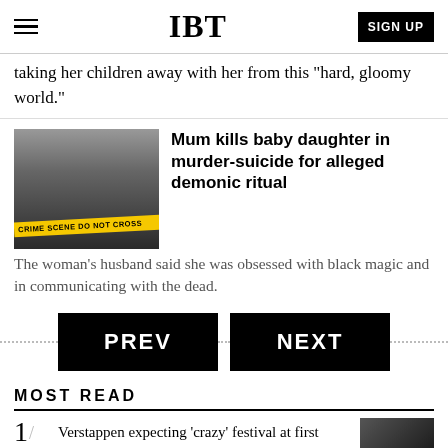IBT | SIGN UP
taking her children away with her from this "hard, gloomy world."
[Figure (photo): Crime scene tape reading 'CRIME SCENE DO NOT CROSS' with police officers in background]
Mum kills baby daughter in murder-suicide for alleged demonic ritual
The woman's husband said she was obsessed with black magic and in communicating with the dead.
PREV  NEXT
MOST READ
1/ Verstappen expecting 'crazy' festival at first home race as champion